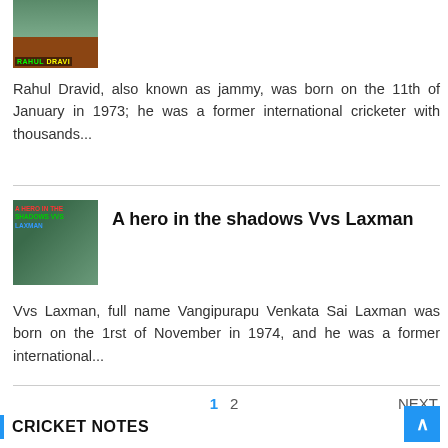[Figure (photo): Thumbnail image of Rahul Dravid with text overlay 'RAHUL DRAVI']
Rahul Dravid, also known as jammy, was born on the 11th of January in 1973; he was a former international cricketer with thousands...
[Figure (photo): Thumbnail image for VVS Laxman article with text overlay]
A hero in the shadows Vvs Laxman
Vvs Laxman, full name Vangipurapu Venkata Sai Laxman was born on the 1rst of November in 1974, and he was a former international...
1  2  NEXT
CRICKET NOTES